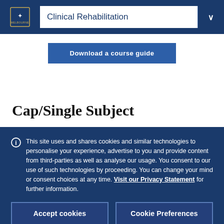Clinical Rehabilitation
[Figure (screenshot): Download a course guide button]
Cap/Single Subject
This site uses and shares cookies and similar technologies to personalise your experience, advertise to you and provide content from third-parties as well as analyse our usage. You consent to our use of such technologies by proceeding. You can change your mind or consent choices at any time. Visit our Privacy Statement for further information.
Accept cookies
Cookie Preferences